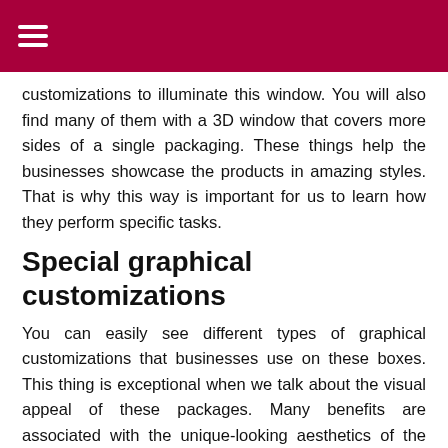≡
customizations to illuminate this window. You will also find many of them with a 3D window that covers more sides of a single packaging. These things help the businesses showcase the products in amazing styles. That is why this way is important for us to learn how they perform specific tasks.
Special graphical customizations
You can easily see different types of graphical customizations that businesses use on these boxes. This thing is exceptional when we talk about the visual appeal of these packages. Many benefits are associated with the unique-looking aesthetics of the boxes. So, brands can easily customize different types of color schemes to enhance their appeal. It is also beneficial that they can come in a great variety of artwork that can help boost attraction for the people. Printing special images on them